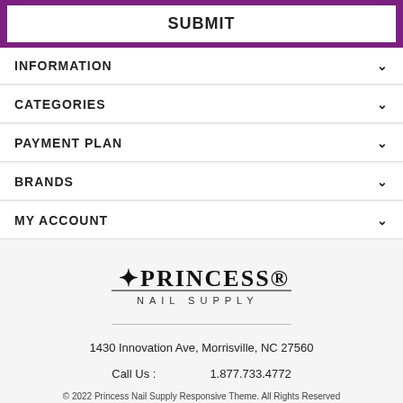SUBMIT
INFORMATION
CATEGORIES
PAYMENT PLAN
BRANDS
MY ACCOUNT
[Figure (logo): Princess Nail Supply logo with decorative flower and ruled underline]
1430 Innovation Ave, Morrisville, NC 27560
Call Us : 1.877.733.4772
© 2022 Princess Nail Supply Responsive Theme. All Rights Reserved